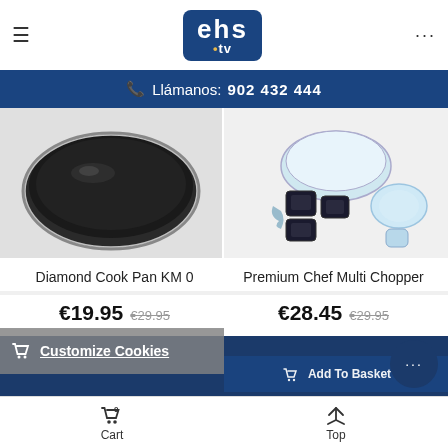ehs .tv
Llámanos: 902 432 444
[Figure (photo): Diamond Cook Pan KM 0 - dark non-stick frying pan shown from above]
[Figure (photo): Premium Chef Multi Chopper - food chopper with multiple attachments and blades]
Diamond Cook Pan KM 0
Premium Chef Multi Chopper
€19.95  €29.95
€28.45  €29.95
Customize Cookies
★★★★☆ (11)
Add To Basket
Add To Basket
Cart  Top